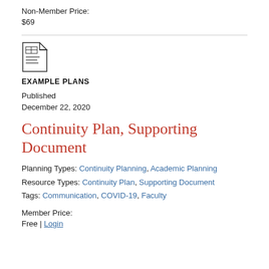Non-Member Price:
$69
[Figure (illustration): Document/plan icon showing a page with a table grid and lines]
EXAMPLE PLANS
Published
December 22, 2020
Continuity Plan, Supporting Document
Planning Types: Continuity Planning, Academic Planning
Resource Types: Continuity Plan, Supporting Document
Tags: Communication, COVID-19, Faculty
Member Price:
Free | Login